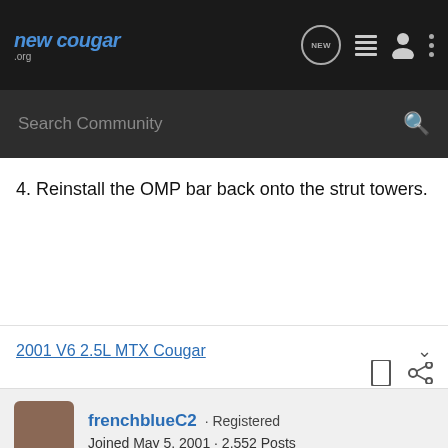newcougar.org — NEW (navigation icons)
Search Community
4. Reinstall the OMP bar back onto the strut towers.
2001 V6 2.5L MTX Cougar
frenchblueC2 · Registered
Joined May 5, 2001 · 2,552 Posts
#2 · Jan 10, 2004